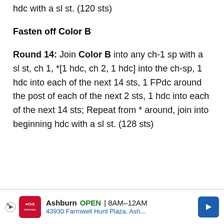hdc with a sl st. (120 sts)
Fasten off Color B
Round 14: Join Color B into any ch-1 sp with a sl st, ch 1, *[1 hdc, ch 2, 1 hdc] into the ch-sp, 1 hdc into each of the next 14 sts, 1 FPdc around the post of each of the next 2 sts, 1 hdc into each of the next 14 sts; Repeat from * around, join into beginning hdc with a sl st. (128 sts)
Ashburn OPEN 8AM–12AM 43930 Farmwell Hunt Plaza, Ash...